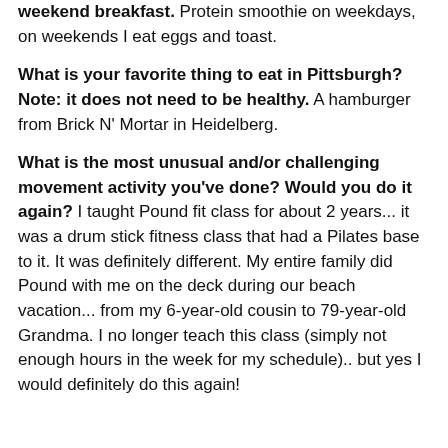weekend breakfast. Protein smoothie on weekdays, on weekends I eat eggs and toast.
What is your favorite thing to eat in Pittsburgh? Note: it does not need to be healthy. A hamburger from Brick N' Mortar in Heidelberg.
What is the most unusual and/or challenging movement activity you've done? Would you do it again? I taught Pound fit class for about 2 years... it was a drum stick fitness class that had a Pilates base to it. It was definitely different. My entire family did Pound with me on the deck during our beach vacation... from my 6-year-old cousin to 79-year-old Grandma. I no longer teach this class (simply not enough hours in the week for my schedule).. but yes I would definitely do this again!